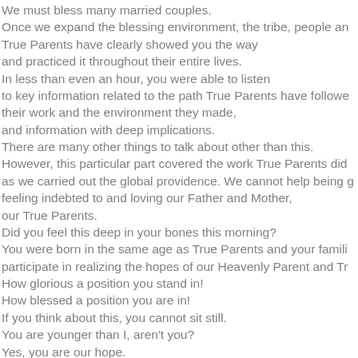We must bless many married couples. Once we expand the blessing environment, the tribe, people an True Parents have clearly showed you the way and practiced it throughout their entire lives. In less than even an hour, you were able to listen to key information related to the path True Parents have followed their work and the environment they made, and information with deep implications. There are many other things to talk about other than this. However, this particular part covered the work True Parents did as we carried out the global providence. We cannot help being feeling indebted to and loving our Father and Mother, our True Parents. Did you feel this deep in your bones this morning? You were born in the same age as True Parents and your families participate in realizing the hopes of our Heavenly Parent and Tr How glorious a position you stand in! How blessed a position you are in! If you think about this, you cannot sit still. You are younger than I, aren't you? Yes, you are our hope. However, I cannot help worrying about our future generations.